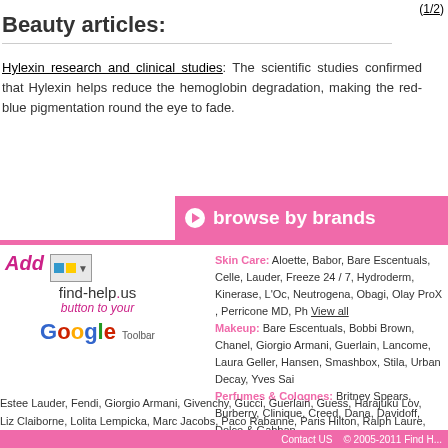(1/2)
Beauty articles:
Hylexin research and clinical studies: The scientific studies confirmed that Hylexin helps reduce the hemoglobin degradation, making the red-blue pigmentation round the eye to fade.
[Figure (infographic): Browse by brands pink banner with play button icon]
[Figure (logo): Add find-help.us button to your Google Toolbar promotional widget]
Skin Care: Aloette, Babor, Bare Escentuals, Celle, Lauder, Freeze 24 / 7, Hydroderm, Kinerase, L'Oc, Neutrogena, Obagi, Olay ProX , Perricone MD, Ph View all
Makeup: Bare Escentuals, Bobbi Brown, Chanel, Giorgio Armani, Guerlain, Lancome, Laura Geller, Hansen, Smashbox, Stila, Urban Decay, Yves Sai
Perfumes & Colognes: Britney Spears, Burberry, Clinique, Creed, Dana, Davidoff, Dolce & Gabban, Estee Lauder, Fendi, Giorgio Armani, Givenchy, Gucci, Guerlain, Guess, Harajuku Lov, Liz Claiborne, Lolita Lempicka, Marc Jacobs, Paco Rabanne, Paris Hilton, Ralph Laure, Yves Saint Laurent, View all
Contact US   © 2005-2011 Find H...